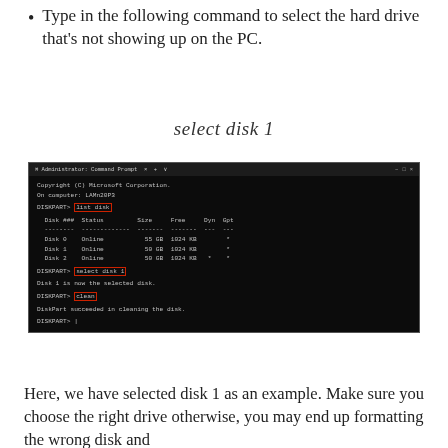Type in the following command to select the hard drive that's not showing up on the PC.
[Figure (screenshot): Administrator Command Prompt window showing diskpart commands: list disk (highlighted in red), a disk table with Disk 0, Disk 1, Disk 2 all Online, then 'select disk 1' (highlighted in red), 'Disk 1 is now the selected disk.', then 'clean' (highlighted in red), 'DiskPart succeeded in cleaning the disk.']
Here, we have selected disk 1 as an example. Make sure you choose the right drive otherwise, you may end up formatting the wrong disk and then losing all your data that could not be recovered.